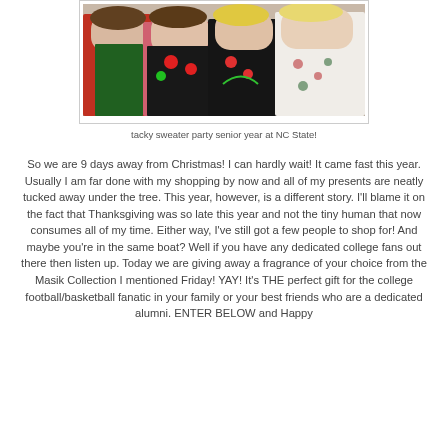[Figure (photo): Four women posing together at a tacky sweater party, wearing festive/ugly Christmas sweaters, at NC State senior year.]
tacky sweater party senior year at NC State!
So we are 9 days away from Christmas!  I can hardly wait!  It came fast this year.  Usually I am far done with my shopping by now and all of my presents are neatly tucked away under the tree.  This year, however, is a different story.  I'll blame it on the fact that Thanksgiving was so late this year and not the tiny human that now consumes all of my time.  Either way, I've still got a few people to shop for!  And maybe you're in the same boat?  Well if you have any dedicated college fans out there then listen up.  Today we are giving away a fragrance of your choice from the Masik Collection I mentioned Friday!  YAY!  It's THE perfect gift for the college football/basketball fanatic in your family or your best friends who are a dedicated alumni.  ENTER BELOW and Happy